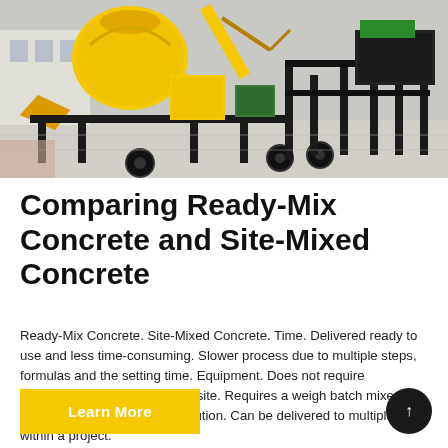[Figure (photo): Yellow concrete mixer / batching plant equipment on a construction site with black steel frame, wheels, and industrial machinery components in the background]
Comparing Ready-Mix Concrete and Site-Mixed Concrete
Ready-Mix Concrete. Site-Mixed Concrete. Time. Delivered ready to use and less time-consuming. Slower process due to multiple steps, formulas and the setting time. Equipment. Does not require equipment at the construction site. Requires a weigh batch mixer to make concrete on-site. Distribution. Can be delivered to multiple sites within a project.
Learn More